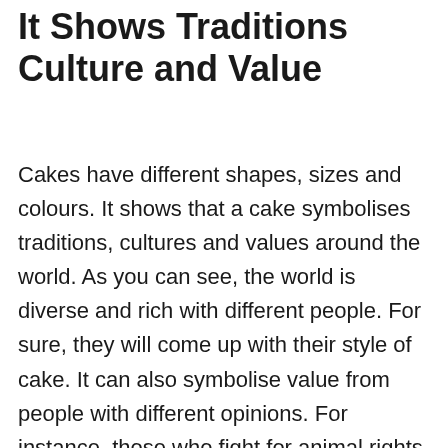It Shows Traditions Culture and Value
Cakes have different shapes, sizes and colours. It shows that a cake symbolises traditions, cultures and values around the world. As you can see, the world is diverse and rich with different people. For sure, they will come up with their style of cake. It can also symbolise value from people with different opinions. For instance, those who fight for animal rights have the option to choose a vegetarian cake. Fortunately, there is a vegan cake delivery in Singapore. See, the cake can even support different traditions and values of the world. It only shows that cake is for everyone, regardless of their background, ethnicity, status, age or gender. Everyone deserves a cake to make life feel sweeter and